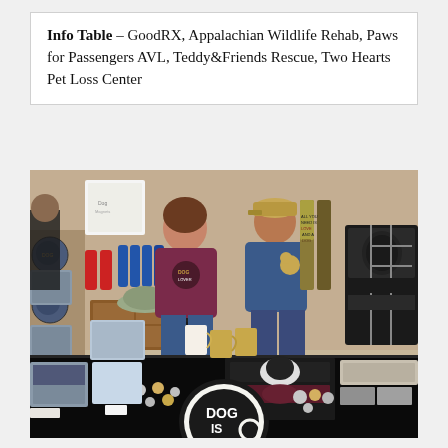Info Table – GoodRX, Appalachian Wildlife Rehab, Paws for Passengers AVL, Teddy&Friends Rescue, Two Hearts Pet Loss Center
[Figure (photo): A man and woman standing behind a vendor/info table covered with a black tablecloth. The table displays dog-themed merchandise including t-shirts, mugs, stuffed animals, hats, and signs. A 'DOG IS' logo is visible on the front of the table. Behind them are additional display items and banners.]